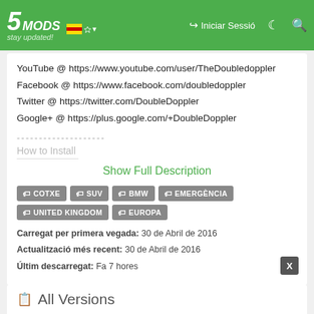5MODS | Iniciar Sessió
YouTube @ https://www.youtube.com/user/TheDoubledoppler
Facebook @ https://www.facebook.com/doubledoppler
Twitter @ https://twitter.com/DoubleDoppler
Google+ @ https://plus.google.com/+DoubleDoppler
--------------------
How to Install
Show Full Description
🏷 COTXE  🏷 SUV  🏷 BMW  🏷 EMERGÈNCIA  🏷 UNITED KINGDOM  🏷 EUROPA
Carregat per primera vegada: 30 de Abril de 2016
Actualització més recent: 30 de Abril de 2016
Últim descarregat: Fa 7 hores
All Versions